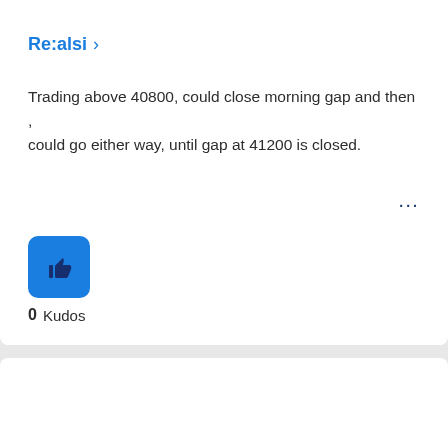Re:alsi >
Trading above 40800, could close morning gap and then , could go either way, until gap at 41200 is closed.
[Figure (illustration): Blue thumbs-up like button icon]
0 Kudos
[Figure (illustration): Circular avatar icon with game controller / rams motif in blue]
Rams